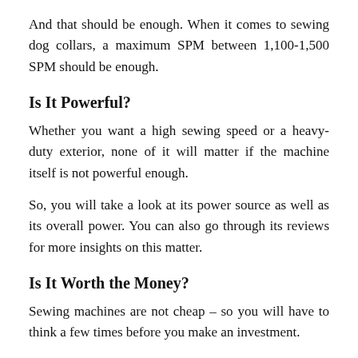And that should be enough. When it comes to sewing dog collars, a maximum SPM between 1,100-1,500 SPM should be enough.
Is It Powerful?
Whether you want a high sewing speed or a heavy-duty exterior, none of it will matter if the machine itself is not powerful enough.
So, you will take a look at its power source as well as its overall power. You can also go through its reviews for more insights on this matter.
Is It Worth the Money?
Sewing machines are not cheap – so you will have to think a few times before you make an investment.